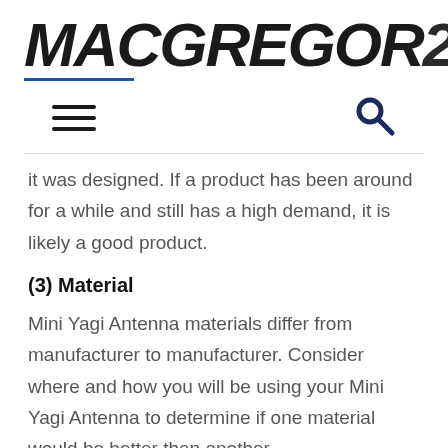MACGREGOR26
it was designed. If a product has been around for a while and still has a high demand, it is likely a good product.
(3) Material
Mini Yagi Antenna materials differ from manufacturer to manufacturer. Consider where and how you will be using your Mini Yagi Antenna to determine if one material would be better than another.